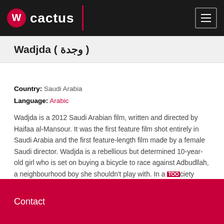Cactus
Wadjda ( وجدة )
Country: Saudi Arabia
Language: Arabic
Wadjda is a 2012 Saudi Arabian film, written and directed by Haifaa al-Mansour. It was the first feature film shot entirely in Saudi Arabia and the first feature-length film made by a female Saudi director. Wadjda is a rebellious but determined 10-year-old girl who is set on buying a bicycle to race against Adbudllah, a neighbourhood boy she shouldn't play with. In a society which does not permit girls to ride bikes, money she needs by entering her school's Koran
Contact